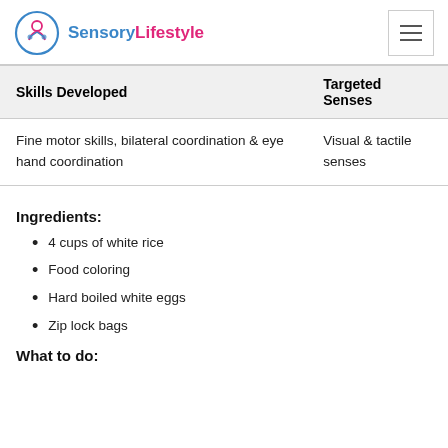SensoryLifestyle
| Skills Developed | Targeted Senses |
| --- | --- |
| Fine motor skills, bilateral coordination & eye hand coordination | Visual & tactile senses |
Ingredients:
4 cups of white rice
Food coloring
Hard boiled white eggs
Zip lock bags
What to do: